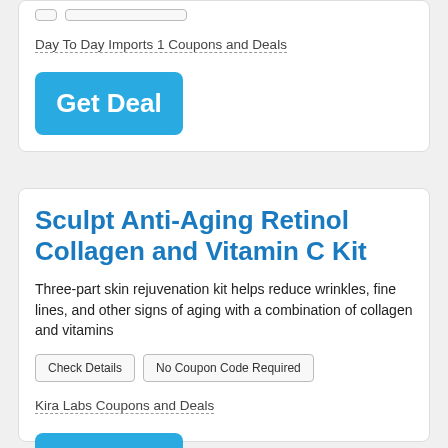Check Details | No Coupon Code Required
Day To Day Imports 1 Coupons and Deals
Get Deal
Sculpt Anti-Aging Retinol Collagen and Vitamin C Kit
Three-part skin rejuvenation kit helps reduce wrinkles, fine lines, and other signs of aging with a combination of collagen and vitamins
Check Details | No Coupon Code Required
Kira Labs Coupons and Deals
Get Deal